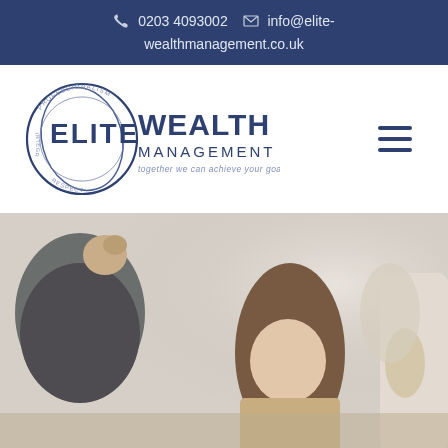0203 4093002   info@elite-wealthmanagement.co.uk
[Figure (logo): Elite Wealth Management logo with circular design and tagline 'together we can achieve your goals']
[Figure (photo): Family scene with children and adults in a casual home setting, soft focus background]